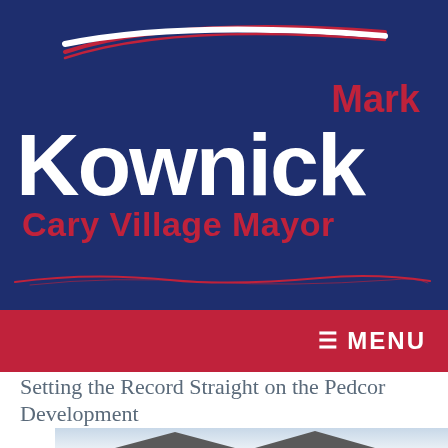[Figure (logo): Mark Kownick Cary Village Mayor campaign logo on dark navy background with red swoosh accent and red decorative underline]
≡ MENU
Setting the Record Straight on the Pedcor Development
[Figure (photo): Partial photo of residential rooftops against a cloudy sky, bottom portion of the page]